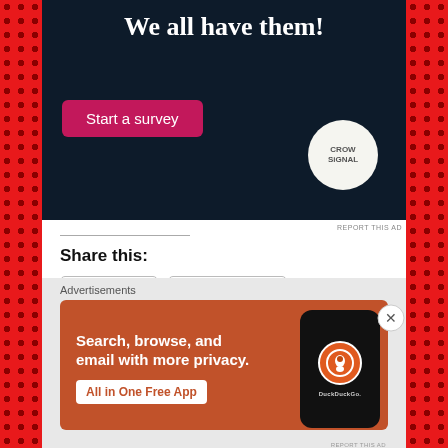[Figure (screenshot): Top advertisement banner with dark navy background, white serif text reading 'We all have them!', a pink 'Start a survey' button, and Crowdsignal circular logo]
REPORT THIS AD
Share this:
[Figure (screenshot): Twitter share button with bird icon]
[Figure (screenshot): Facebook share button with F icon]
[Figure (screenshot): Like button with blue star icon]
Be the first to like this.
Advertisements
[Figure (screenshot): DuckDuckGo advertisement with orange/brown background showing 'Search, browse, and email with more privacy. All in One Free App' text with a phone mockup and DuckDuckGo logo]